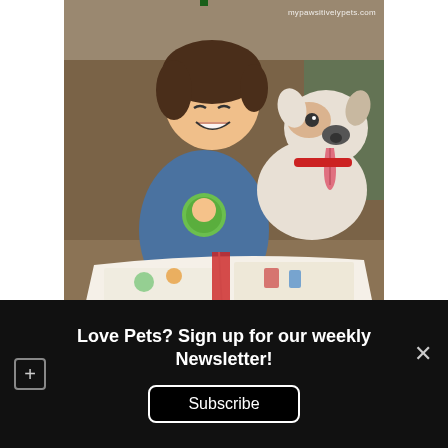[Figure (photo): A smiling young child with dark hair wearing a blue superhero t-shirt, sitting on a couch reading a colorful picture book. A white and brown dog with its tongue out sits beside the child, looking at the book. Watermark text reads 'mypawsitivelypets.com'.]
How to Behave at a Dog Show is a wonderful book for young children that I believe teaches the importance of valuing the good traits in someone and not lingering on what might be considered a "poor" trait by others. With whimsical illustrations to go along
Love Pets? Sign up for our weekly Newsletter!
Subscribe